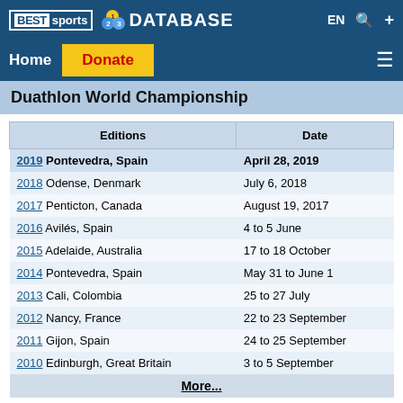BEST sports DATABASE
Home | Donate
Duathlon World Championship
| Editions | Date |
| --- | --- |
| 2019 Pontevedra, Spain | April 28, 2019 |
| 2018 Odense, Denmark | July 6, 2018 |
| 2017 Penticton, Canada | August 19, 2017 |
| 2016 Avilés, Spain | 4 to 5 June |
| 2015 Adelaide, Australia | 17 to 18 October |
| 2014 Pontevedra, Spain | May 31 to June 1 |
| 2013 Cali, Colombia | 25 to 27 July |
| 2012 Nancy, France | 22 to 23 September |
| 2011 Gijon, Spain | 24 to 25 September |
| 2010 Edinburgh, Great Britain | 3 to 5 September |
| More... |  |
Medal Table